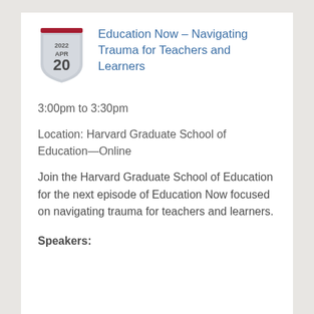Education Now – Navigating Trauma for Teachers and Learners
3:00pm to 3:30pm
Location: Harvard Graduate School of Education—Online
Join the Harvard Graduate School of Education for the next episode of Education Now focused on navigating trauma for teachers and learners.
Speakers: